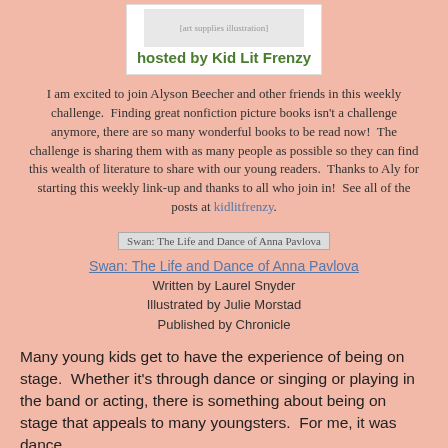[Figure (illustration): Banner image with illustration and text 'hosted by Kid Lit Frenzy' in green bold text on white background]
I am excited to join Alyson Beecher and other friends in this weekly challenge.  Finding great nonfiction picture books isn't a challenge anymore, there are so many wonderful books to be read now!  The challenge is sharing them with as many people as possible so they can find this wealth of literature to share with our young readers.  Thanks to Aly for starting this weekly link-up and thanks to all who join in!  See all of the posts at kidlitfrenzy.
[Figure (illustration): Book cover image for 'Swan: The Life and Dance of Anna Pavlova']
Swan: The Life and Dance of Anna Pavlova
Written by Laurel Snyder
Illustrated by Julie Morstad
Published by Chronicle
Many young kids get to have the experience of being on stage.  Whether it's through dance or singing or playing in the band or acting, there is something about being on stage that appeals to many youngsters.  For me, it was dance